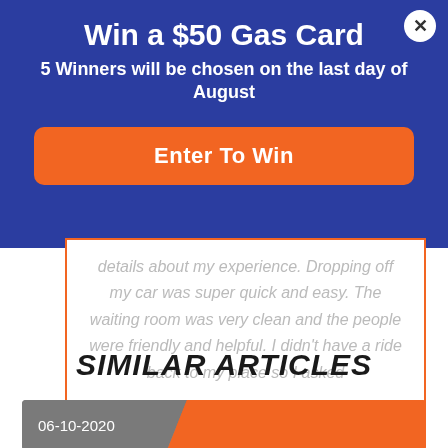Win a $50 Gas Card
5 Winners will be chosen on the last day of August
Enter To Win
details about my experience. Dropping off my car was super quick and easy. The waiting room was very clean and the people were friendly and helpful. I didn't have a ride back to my place so I asked
SIMILAR ARTICLES
06-10-2020